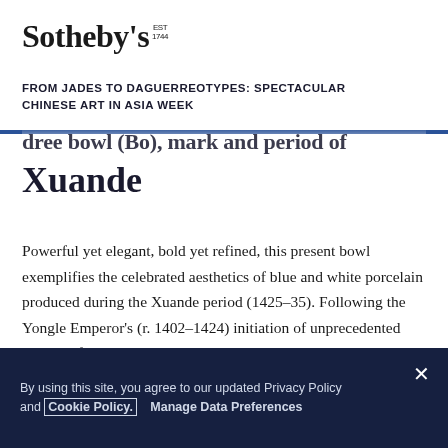Sotheby's EST 1744
FROM JADES TO DAGUERREOTYPES: SPECTACULAR CHINESE ART IN ASIA WEEK
...dree bowl (Bo), mark and period of Xuande
Powerful yet elegant, bold yet refined, this present bowl exemplifies the celebrated aesthetics of blue and white porcelain produced during the Xuande period (1425–35). Following the Yongle Emperor's (r. 1402–1424) initiation of unprecedented control of the kilns in Jingdezhen, the short but prosperous reign of the Xuande Emperor saw further
By using this site, you agree to our updated Privacy Policy and Cookie Policy. Manage Data Preferences